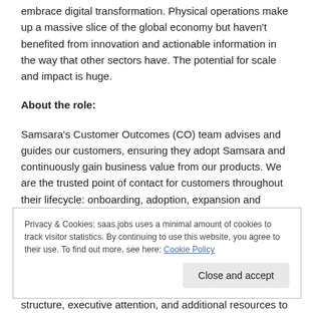embrace digital transformation. Physical operations make up a massive slice of the global economy but haven't benefited from innovation and actionable information in the way that other sectors have. The potential for scale and impact is huge.
About the role:
Samsara's Customer Outcomes (CO) team advises and guides our customers, ensuring they adopt Samsara and continuously gain business value from our products. We are the trusted point of contact for customers throughout their lifecycle: onboarding, adoption, expansion and renewal.
Privacy & Cookies: saas.jobs uses a minimal amount of cookies to track visitor statistics. By continuing to use this website, you agree to their use. To find out more, see here: Cookie Policy
structure, executive attention, and additional resources to